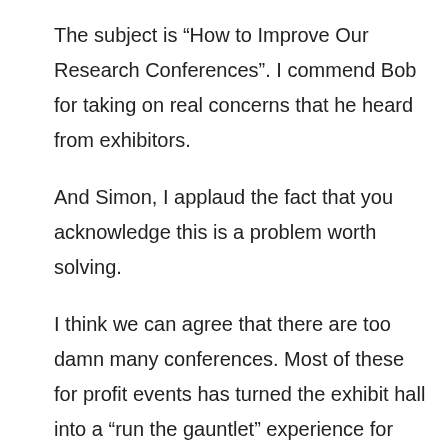The subject is “How to Improve Our Research Conferences”. I commend Bob for taking on real concerns that he heard from exhibitors.
And Simon, I applaud the fact that you acknowledge this is a problem worth solving.
I think we can agree that there are too damn many conferences. Most of these for profit events has turned the exhibit hall into a “run the gauntlet” experience for corporate researchers